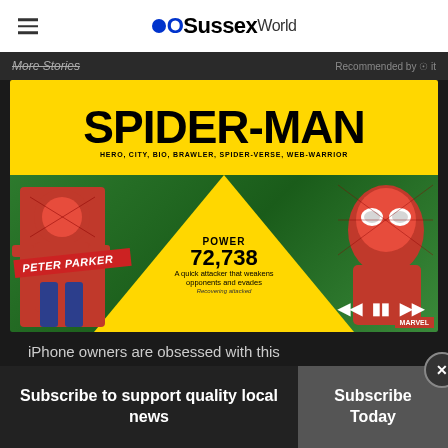OSussexWorld
More Stories
[Figure (screenshot): Spider-Man mobile game advertisement showing SPIDER-MAN title in yellow banner with two Spider-Man character illustrations, POWER 72,738, description text 'A quick attacker that weakens opponents and evades', Peter Parker name banner, and media playback controls]
iPhone owners are obsessed with this Marvel game